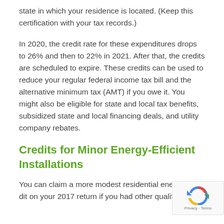state in which your residence is located. (Keep this certification with your tax records.)
In 2020, the credit rate for these expenditures drops to 26% and then to 22% in 2021. After that, the credits are scheduled to expire. These credits can be used to reduce your regular federal income tax bill and the alternative minimum tax (AMT) if you owe it. You might also be eligible for state and local tax benefits, subsidized state and local financing deals, and utility company rebates.
Credits for Minor Energy-Efficient Installations
You can claim a more modest residential energy credit on your 2017 return if you had other qualifying